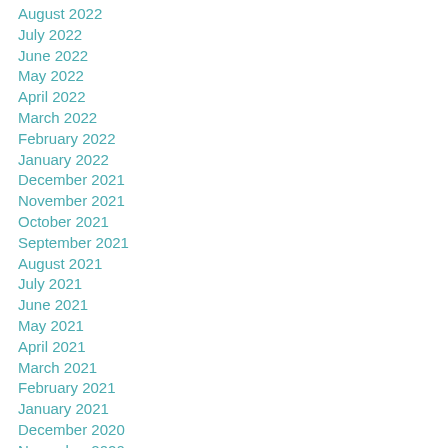August 2022
July 2022
June 2022
May 2022
April 2022
March 2022
February 2022
January 2022
December 2021
November 2021
October 2021
September 2021
August 2021
July 2021
June 2021
May 2021
April 2021
March 2021
February 2021
January 2021
December 2020
November 2020
October 2020